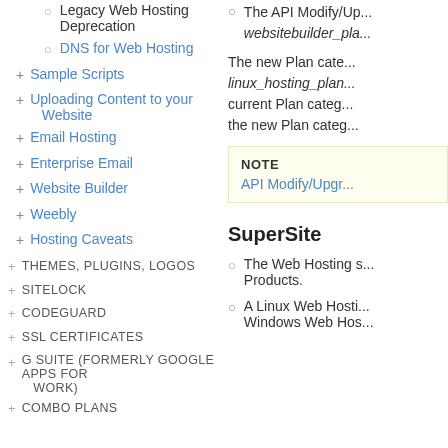Legacy Web Hosting Deprecation
DNS for Web Hosting
Sample Scripts
Uploading Content to your Website
Email Hosting
Enterprise Email
Website Builder
Weebly
Hosting Caveats
THEMES, PLUGINS, LOGOS
SITELOCK
CODEGUARD
SSL CERTIFICATES
G SUITE (FORMERLY GOOGLE APPS FOR WORK)
COMBO PLANS
The API Modify/Upgrade... websitebuilder_pla...
The new Plan cate... linux_hosting_plan... current Plan categ... the new Plan categ...
NOTE
API Modify/Upgr...
SuperSite
The Web Hosting s... Products.
A Linux Web Hosti... Windows Web Hos...